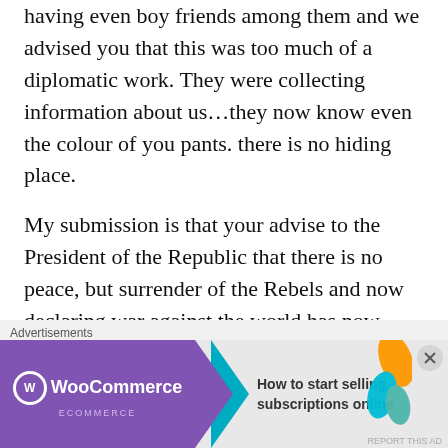having even boy friends among them and we advised you that this was too much of a diplomatic work. They were collecting information about us…they now know even the colour of you pants. there is no hiding place.
My submission is that your advise to the President of the Republic that there is no peace, but surrender of the Rebels and now declaring war against the world has now backfired. You are killing him and you are destroying South Sudan by extension. Even if We fight the West, whose country will be
[Figure (other): WooCommerce advertisement banner: 'How to start selling subscriptions online']